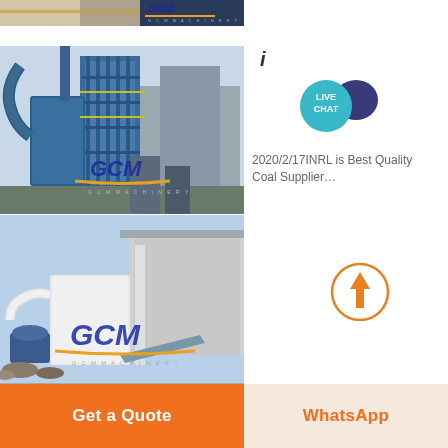[Figure (photo): GCM Machinery - top cropped industrial equipment image with yellow stripe and GCM logo]
[Figure (photo): GCM Machinery - blue industrial dust collection tower/plant facility with GCM logo overlay]
[Figure (photo): GCM Machinery - white industrial grinding/processing equipment outdoors with GCM logo overlay]
i
2020/2/17INRL is Best Quality Coal Supplier…
[Figure (other): Arrow up navigation button (orange circle with up arrow)]
[Figure (other): Live Chat button bubble (teal circle with LIVE CHAT text and dark speech bubble)]
Get a Quote | WhatsApp